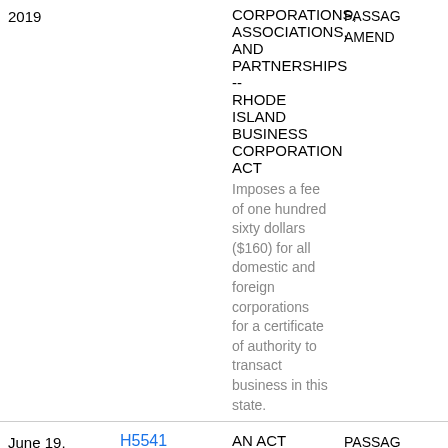| Date | Bill | Title/Description | Status |
| --- | --- | --- | --- |
| 2019 |  | CORPORATIONS, ASSOCIATIONS, AND PARTNERSHIPS -- RHODE ISLAND BUSINESS CORPORATION ACT
Imposes a fee of one hundred sixty dollars ($160) for all domestic and foreign corporations for a certificate of authority to transact business in this state. | PASSAGE AMEND |
| June 19, 2019 | H5541 | AN ACT RELATING TO HEALTH AND SAFETY -- DEPARTMENT OF HEALTH
Expands the provisions requiring the reporting of immunization status and any | PASSAGE PASSAGE AMEND |